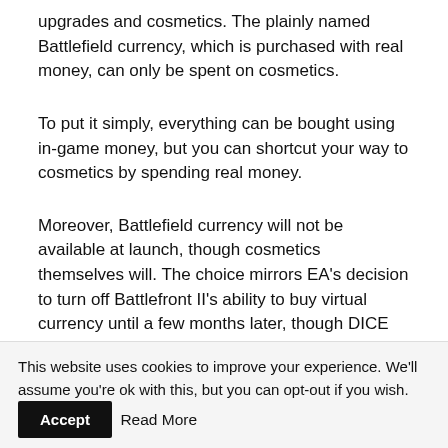upgrades and cosmetics. The plainly named Battlefield currency, which is purchased with real money, can only be spent on cosmetics.
To put it simply, everything can be bought using in-game money, but you can shortcut your way to cosmetics by spending real money.
Moreover, Battlefield currency will not be available at launch, though cosmetics themselves will. The choice mirrors EA's decision to turn off Battlefront II's ability to buy virtual currency until a few months later, though DICE explains that they want players to have
This website uses cookies to improve your experience. We'll assume you're ok with this, but you can opt-out if you wish. Accept Read More